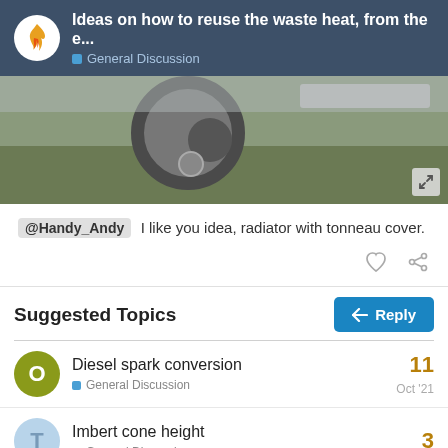Ideas on how to reuse the waste heat, from the e... — General Discussion
[Figure (photo): Partial view of a vehicle undercarriage showing a tire and rear bumper, with grass ground visible below.]
@Handy_Andy I like you idea, radiator with tonneau cover.
Suggested Topics
Diesel spark conversion — General Discussion — 11 replies — Oct '21
Imbert cone height — General Discussion — 3 replies
4 / 4